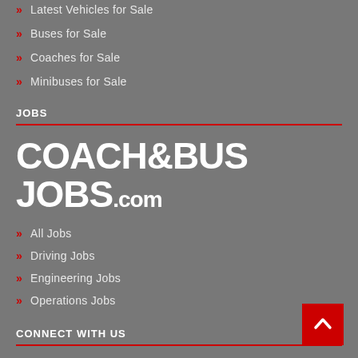» Latest Vehicles for Sale
» Buses for Sale
» Coaches for Sale
» Minibuses for Sale
JOBS
[Figure (logo): COACH&BUS JOBS.com logo in bold white uppercase text on grey background]
» All Jobs
» Driving Jobs
» Engineering Jobs
» Operations Jobs
CONNECT WITH US